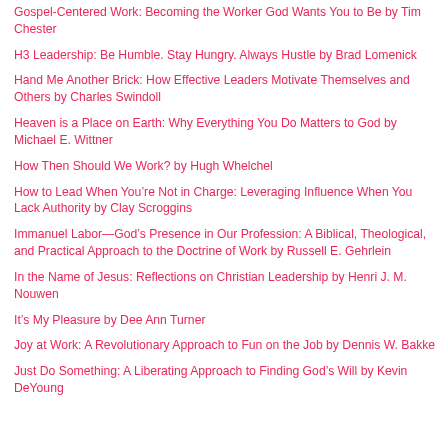Gospel-Centered Work: Becoming the Worker God Wants You to Be by Tim Chester
H3 Leadership: Be Humble. Stay Hungry. Always Hustle by Brad Lomenick
Hand Me Another Brick: How Effective Leaders Motivate Themselves and Others by Charles Swindoll
Heaven is a Place on Earth: Why Everything You Do Matters to God by Michael E. Wittner
How Then Should We Work? by Hugh Whelchel
How to Lead When You're Not in Charge: Leveraging Influence When You Lack Authority by Clay Scroggins
Immanuel Labor—God's Presence in Our Profession: A Biblical, Theological, and Practical Approach to the Doctrine of Work by Russell E. Gehrlein
In the Name of Jesus: Reflections on Christian Leadership by Henri J. M. Nouwen
It's My Pleasure by Dee Ann Turner
Joy at Work: A Revolutionary Approach to Fun on the Job by Dennis W. Bakke
Just Do Something: A Liberating Approach to Finding God's Will by Kevin DeYoung